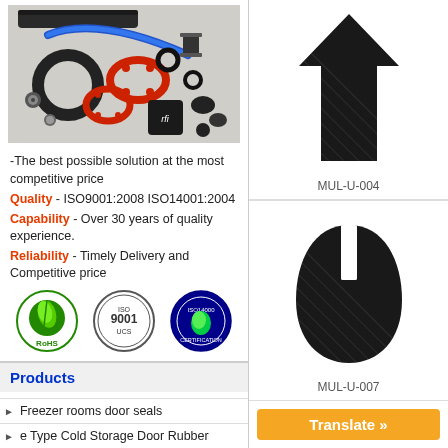[Figure (photo): Photo of assorted rubber seals, gaskets, O-rings, and rubber products including black seals, red gaskets, and a blue hose]
-The best possible solution at the most competitive price
Quality - ISO9001:2008 ISO14001:2004
Capability - Over 30 years of quality experience.
Reliability - Timely Delivery and Competitive price
[Figure (logo): RoHS green leaf logo]
[Figure (logo): ISO 9001 UCS certification logo]
[Figure (logo): ISO 14000 certification logo]
Products
Freezer rooms door seals
e Type Cold Storage Door Rubber
[Figure (illustration): MUL-U-004: Black U-shaped rubber extrusion profile with upward arrow shape, shown in cross-section diagram]
MUL-U-004
[Figure (illustration): MUL-U-007: Black teardrop/bulb shaped rubber extrusion profile with center slot, shown in cross-section diagram]
MUL-U-007